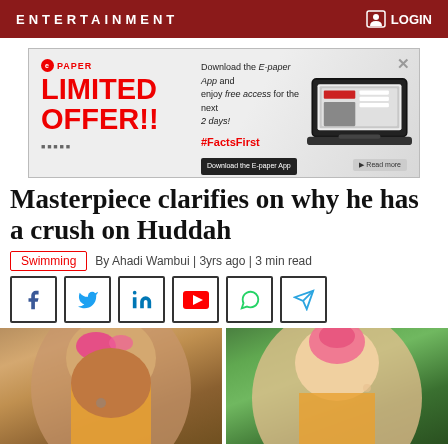ENTERTAINMENT  LOGIN
[Figure (infographic): E-paper advertisement banner: LIMITED OFFER!! Download the E-paper App and enjoy free access for the next 2 days! #FactsFirst]
Masterpiece clarifies on why he has a crush on Huddah
Swimming  By Ahadi Wambui | 3yrs ago | 3 min read
[Figure (infographic): Social media share icons: Facebook, Twitter, LinkedIn, YouTube, WhatsApp, Telegram]
[Figure (photo): Side-by-side photos of Masterpiece (left, dark skin, pink highlighted hair, yellow top) and Huddah Monroe (right, light skin, pink hair bun, yellow top, smiling)]